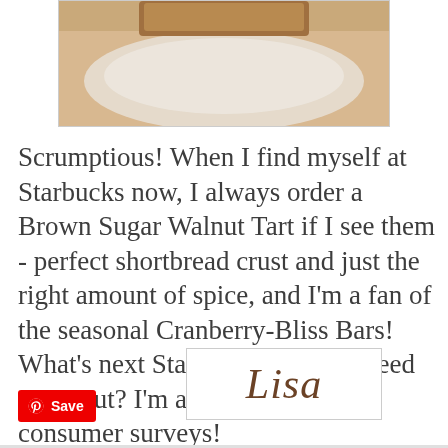[Figure (photo): Close-up photo of a baked pastry/tart on a white plate, partially cropped]
Scrumptious! When I find myself at Starbucks now, I always order a Brown Sugar Walnut Tart if I see them - perfect shortbread crust and just the right amount of spice, and I'm a fan of the seasonal Cranberry-Bliss Bars! What's next Starbucks? Do you need my input? I'm available for your consumer surveys!
[Figure (illustration): Cursive signature reading 'Lisa' in brown/gold script on white background with border]
Save